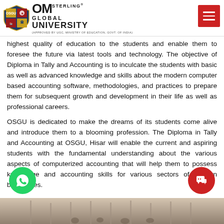[Figure (logo): OM Sterling Global University logo with shield emblem and hamburger menu button]
highest quality of education to the students and enable them to foresee the future via latest tools and technology. The objective of Diploma in Tally and Accounting is to inculcate the students with basic as well as advanced knowledge and skills about the modern computer based accounting software, methodologies, and practices to prepare them for subsequent growth and development in their life as well as professional careers.
OSGU is dedicated to make the dreams of its students come alive and introduce them to a blooming profession. The Diploma in Tally and Accounting at OSGU, Hisar will enable the current and aspiring students with the fundamental understanding about the various aspects of computerized accounting that will help them to possess knowledge and accounting skills for various sectors of modern businesses.
[Figure (photo): Bottom strip showing a classroom or campus building photograph]